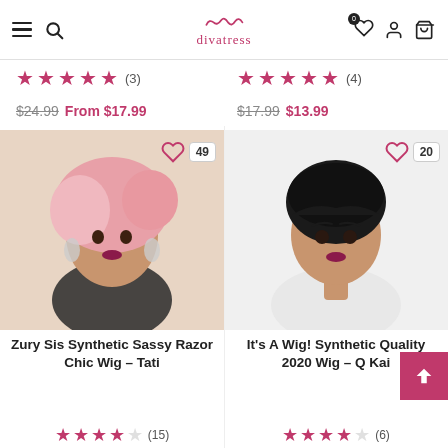[Figure (screenshot): Divatress e-commerce website header with hamburger menu, search icon, Divatress logo, wishlist (heart) icon with 0 badge, account icon, and cart icon]
★★★★★ (3)  |  ★★★★★ (4)
$24.99  From $17.99  |  $17.99  $13.99
[Figure (photo): Woman wearing a pink short wavy wig - Zury Sis Synthetic Sassy Razor Chic Wig Tati, wishlist button with 49 likes]
[Figure (photo): Woman wearing a black short pixie cut wig - It's A Wig! Synthetic Quality 2020 Wig Q Kai, wishlist button with 20 likes]
Zury Sis Synthetic Sassy Razor Chic Wig – Tati
It's A Wig! Synthetic Quality 2020 Wig – Q Kai
★★★★☆ (15)  |  ★★★★☆ (6)